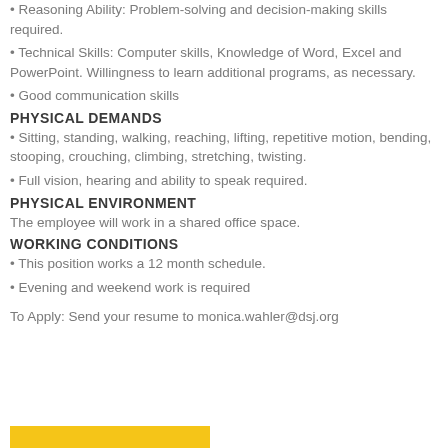Reasoning Ability: Problem-solving and decision-making skills required.
Technical Skills: Computer skills, Knowledge of Word, Excel and PowerPoint. Willingness to learn additional programs, as necessary.
Good communication skills
PHYSICAL DEMANDS
Sitting, standing, walking, reaching, lifting, repetitive motion, bending, stooping, crouching, climbing, stretching, twisting.
Full vision, hearing and ability to speak required.
PHYSICAL ENVIRONMENT
The employee will work in a shared office space.
WORKING CONDITIONS
This position works a 12 month schedule.
Evening and weekend work is required
To Apply: Send your resume to monica.wahler@dsj.org
[Figure (other): Yellow/gold colored rectangular bar at bottom left of page]